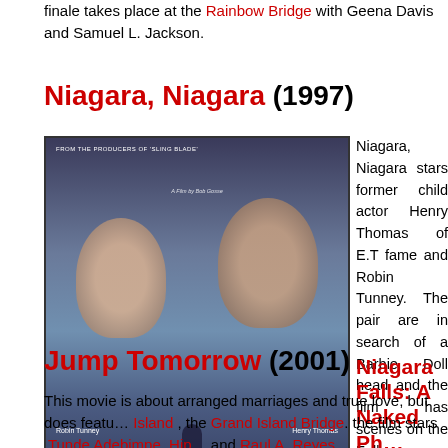finale takes place at the Rainbow Bridge with Geena Davis and Samuel L. Jackson.
Niagara, Niagara (1997)
[Figure (photo): Movie poster for Niagara Niagara showing two faces and a lone figure near Niagara Falls with the title NIAGARA NIAGARA in large bold white letters]
Niagara, Niagara stars former child actor Henry Thomas of E.T fame and Robin Tunney. The pair are in search of a Barbie Doll head and the film has scenes on the Falls Observation Tower, Prospect Point and the Horseshoe Falls near the Table Roc…
Niagara Falls: A Naked Ph… Made for TV (1999)
This made-for-TV documentary is a great lo… Niagara Falls and its historical geology.
Jump Tomorrow (2001)
This movie is about arranged marriages and true love, but does featu… Island , the Grand Island Bridge. the film stars Tunde Adebimpe, Hip… and Raul A. Reyes.